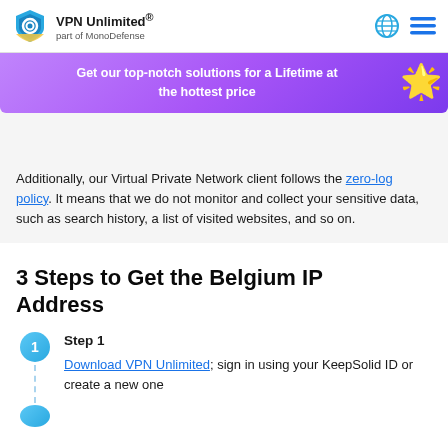VPN Unlimited® part of MonoDefense
[Figure (infographic): Purple promotional banner: 'Get our top-notch solutions for a Lifetime at the hottest price' with a starfish illustration on the right]
An... (Virtual IP address partial text cut off by banner)
Additionally, our Virtual Private Network client follows the zero-log policy. It means that we do not monitor and collect your sensitive data, such as search history, a list of visited websites, and so on.
3 Steps to Get the Belgium IP Address
Step 1
Download VPN Unlimited; sign in using your KeepSolid ID or create a new one